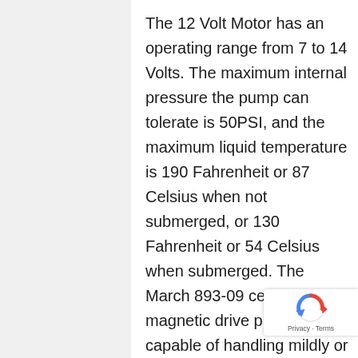The 12 Volt Motor has an operating range from 7 to 14 Volts. The maximum internal pressure the pump can tolerate is 50PSI, and the maximum liquid temperature is 190 Fahrenheit or 87 Celsius when not submerged, or 130 Fahrenheit or 54 Celsius when submerged. The March 893-09 centrifugal magnetic drive pump is capable of handling mildly or highly